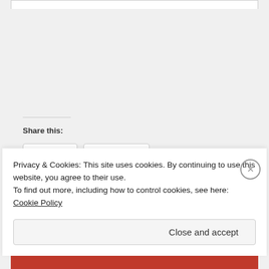Share this:
Twitter
Facebook
Like
Privacy & Cookies: This site uses cookies. By continuing to use this website, you agree to their use.
To find out more, including how to control cookies, see here:
Cookie Policy
Close and accept